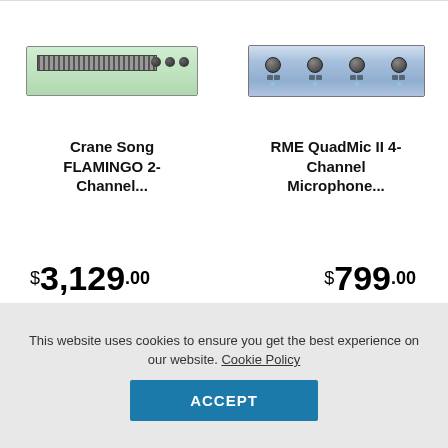[Figure (photo): Crane Song FLAMINGO 2-Channel rack unit device, green colored, 1U rack equipment]
[Figure (photo): RME QuadMic II 4-Channel Microphone rack unit, blue colored, with knobs and buttons]
Crane Song FLAMINGO 2-Channel...
RME QuadMic II 4-Channel Microphone...
$3,129.00
$799.00
This website uses cookies to ensure you get the best experience on our website. Cookie Policy
ACCEPT